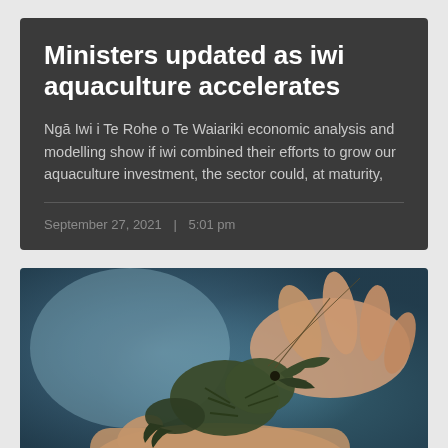Ministers updated as iwi aquaculture accelerates
Ngā Iwi i Te Rohe o Te Waiariki economic analysis and modelling show if iwi combined their efforts to grow our aquaculture investment, the sector could, at maturity,
September 27, 2021  |  5:01 pm
[Figure (photo): Close-up photo of hands holding a small crayfish or freshwater crab against a blurred blue background]